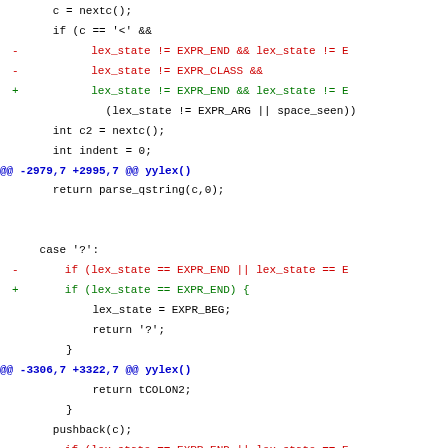diff/patch code showing changes to yylex() function in Ruby lexer source code
[Figure (other): Source code diff showing removed and added lines with context in a C/Ruby lexer file, with hunk headers in blue, removed lines in red, and added lines in green]